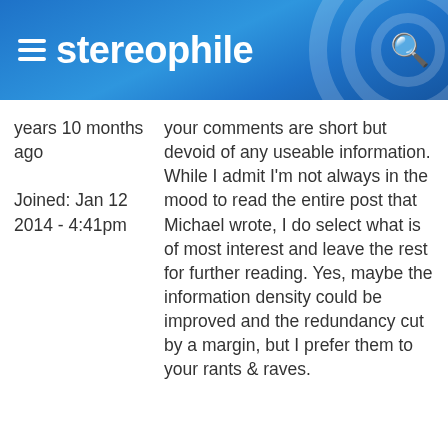stereophile
years 10 months ago
Joined: Jan 12 2014 - 4:41pm
your comments are short but devoid of any useable information. While I admit I'm not always in the mood to read the entire post that Michael wrote, I do select what is of most interest and leave the rest for further reading. Yes, maybe the information density could be improved and the redundancy cut by a margin, but I prefer them to your rants & raves.